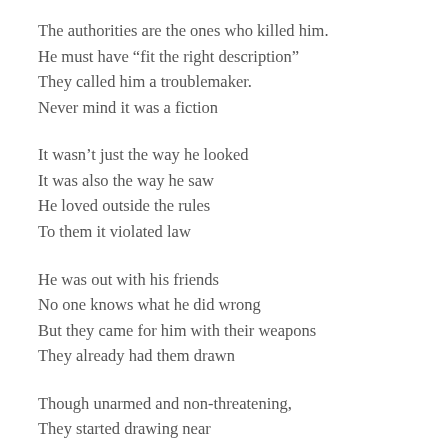The authorities are the ones who killed him.
He must have “fit the right description”
They called him a troublemaker.
Never mind it was a fiction
It wasn’t just the way he looked
It was also the way he saw
He loved outside the rules
To them it violated law
He was out with his friends
No one knows what he did wrong
But they came for him with their weapons
They already had them drawn
Though unarmed and non-threatening,
They started drawing near